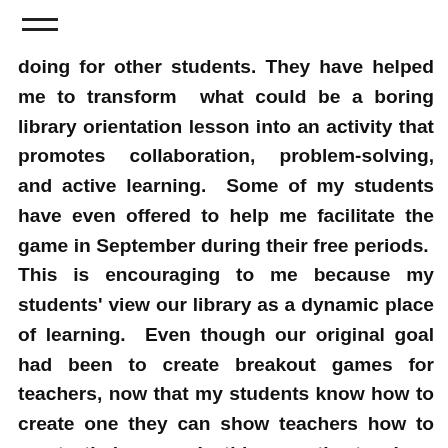doing for other students. They have helped me to transform what could be a boring library orientation lesson into an activity that promotes collaboration, problem-solving, and active learning. Some of my students have even offered to help me facilitate the game in September during their free periods. This is encouraging to me because my students' view our library as a dynamic place of learning. Even though our original goal had been to create breakout games for teachers, now that my students know how to create one they can show teachers how to create their own. In this way, the teachers can customize their games as appropriate for their classes. They can also demonstrate to teachers how to create puzzles